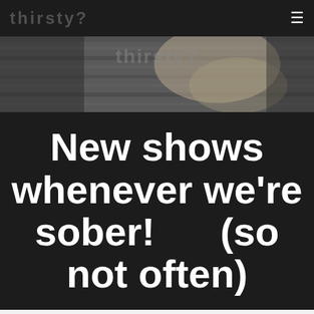thirsty? ☰
[Figure (photo): Black and white photo banner showing wooden texture and partial figure, serving as website header background image]
New shows whenever we're sober!      (so not often)
Episode 58 - Ginger For What 'Ales' You.  Ginger Binge!